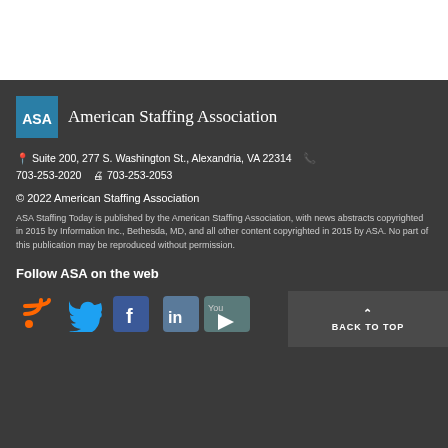[Figure (logo): ASA (American Staffing Association) logo with blue square and white ASA text, followed by 'American Staffing Association' in serif white text]
📍 Suite 200, 277 S. Washington St., Alexandria, VA 22314  📞 703-253-2020  🖨 703-253-2053
© 2022 American Staffing Association
ASA Staffing Today is published by the American Staffing Association, with news abstracts copyrighted in 2015 by Information Inc., Bethesda, MD, and all other content copyrighted in 2015 by ASA. No part of this publication may be reproduced without permission.
Follow ASA on the web
[Figure (illustration): Row of social media icons: RSS feed, Twitter bird, Facebook f, LinkedIn in, YouTube logo. Plus a 'BACK TO TOP' button with upward arrow.]